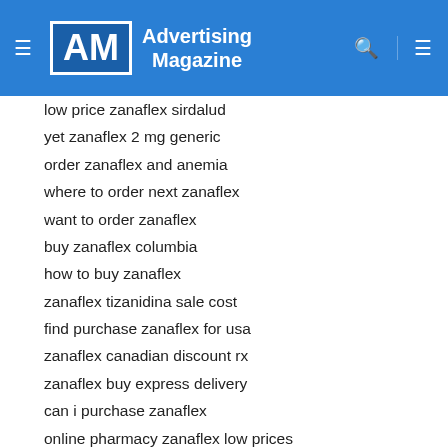AM Advertising Magazine
low price zanaflex sirdalud
yet zanaflex 2 mg generic
order zanaflex and anemia
where to order next zanaflex
want to order zanaflex
buy zanaflex columbia
how to buy zanaflex
zanaflex tizanidina sale cost
find purchase zanaflex for usa
zanaflex canadian discount rx
zanaflex buy express delivery
can i purchase zanaflex
online pharmacy zanaflex low prices
nonprescription zanaflex can i purchase
half zanaflex buy
buy zanaflex online legally
india pharmacy cheapest zanaflex
want to purchase zanaflex
need zanaflex website cheap drugs
zanaflex by echeck no prescription